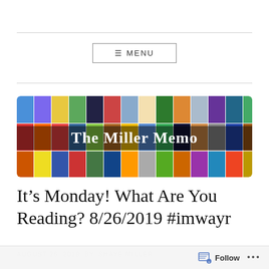≡ MENU
[Figure (illustration): The Miller Memo blog banner image showing a collage of colorful book covers with the text 'The Miller Memo' overlaid in white letters]
It's Monday! What Are You Reading? 8/26/2019 #imwayr
AUGUST 26, 2019 by SHAYE MILLER
Follow ...